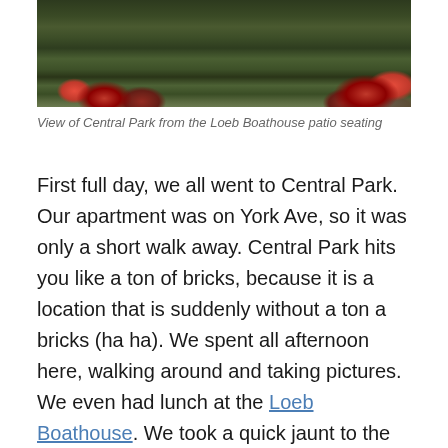[Figure (photo): View of Central Park lake from the Loeb Boathouse patio seating, showing water reflections, dark green foliage, and red flowers/geraniums in the foreground bottom corners]
View of Central Park from the Loeb Boathouse patio seating
First full day, we all went to Central Park. Our apartment was on York Ave, so it was only a short walk away. Central Park hits you like a ton of bricks, because it is a location that is suddenly without a ton a bricks (ha ha). We spent all afternoon here, walking around and taking pictures. We even had lunch at the Loeb Boathouse. We took a quick jaunt to the MET, but they were about to close, so we never actually went in that day. Instead we went to the Guggenheim Museum. That museum is actually